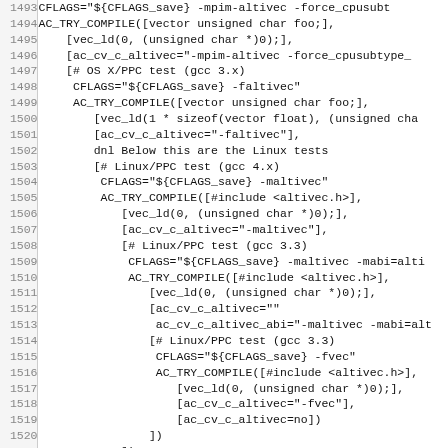[Figure (screenshot): Source code viewer showing lines 1493-1525 of a shell/autoconf script with line numbers on the left and code on the right, monospace font, light gray line number gutter.]